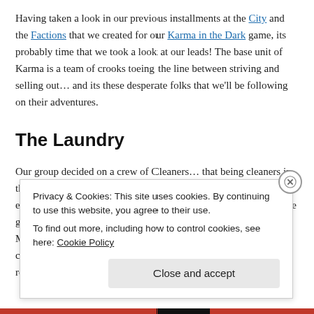Having taken a look in our previous installments at the City and the Factions that we created for our Karma in the Dark game, its probably time that we took a look at our leads! The base unit of Karma is a team of crooks toeing the line between striving and selling out… and its these desperate folks that we'll be following on their adventures.
The Laundry
Our group decided on a crew of Cleaners… that being cleaners in the Jean Reno sense, specializing cover-ups, frame jobs, and at the extreme end outright assassination. Their lair is tucked away in the guts of a long abandoned tower block in the labyrinthine heart of Metro East's decaying coastal highrises. Though partially collapsed, the team is in the process of stripping the building for resources.
Privacy & Cookies: This site uses cookies. By continuing to use this website, you agree to their use. To find out more, including how to control cookies, see here: Cookie Policy
Close and accept